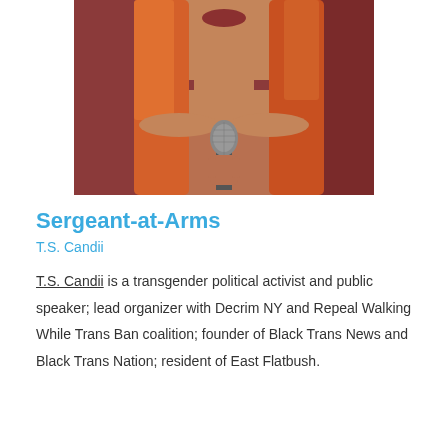[Figure (photo): Person with orange/red hair holding a microphone, photographed from shoulders up against a dark red background.]
Sergeant-at-Arms
T.S. Candii
T.S. Candii is a transgender political activist and public speaker; lead organizer with Decrim NY and Repeal Walking While Trans Ban coalition; founder of Black Trans News and Black Trans Nation; resident of East Flatbush.